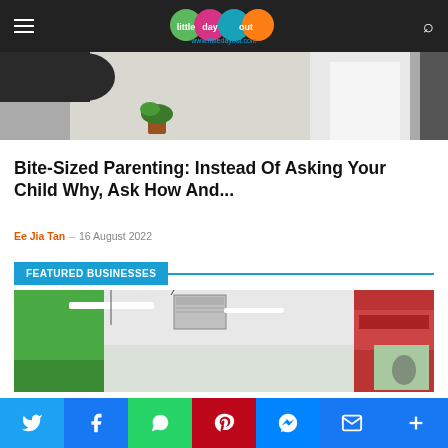little day out — www.littledayout.com
[Figure (photo): Close-up photo showing a dark-skinned arm/hand on the left, a person wearing a white shirt on the right, and a potted plant in the background against a white wall]
Bite-Sized Parenting: Instead Of Asking Your Child Why, Ask How And...
Ee Jia Tan – 16 August 2022
FEATURED BUSINESSES
[Figure (photo): Interior photo of a commercial space with green and red walls, ceiling lights, and AC unit]
[Figure (other): Social sharing bar with Twitter, Facebook, WhatsApp, Pinterest, Messenger, Email, and More buttons]